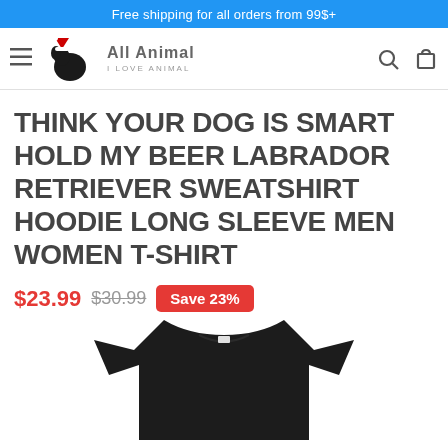Free shipping for all orders from 99$+
[Figure (logo): All Animal logo with Santa hat dog illustration and text 'All Animal I Love Animal']
THINK YOUR DOG IS SMART HOLD MY BEER LABRADOR RETRIEVER SWEATSHIRT HOODIE LONG SLEEVE MEN WOMEN T-SHIRT
$23.99  $30.99  Save 23%
[Figure (photo): Black t-shirt product photo, cropped view showing neckline]